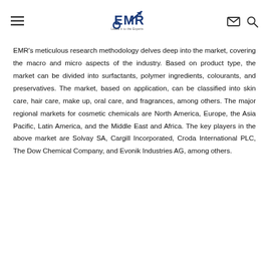EMR logo header with navigation menu icon, mail icon, and search icon
EMR's meticulous research methodology delves deep into the market, covering the macro and micro aspects of the industry. Based on product type, the market can be divided into surfactants, polymer ingredients, colourants, and preservatives. The market, based on application, can be classified into skin care, hair care, make up, oral care, and fragrances, among others. The major regional markets for cosmetic chemicals are North America, Europe, the Asia Pacific, Latin America, and the Middle East and Africa. The key players in the above market are Solvay SA, Cargill Incorporated, Croda International PLC, The Dow Chemical Company, and Evonik Industries AG, among others.